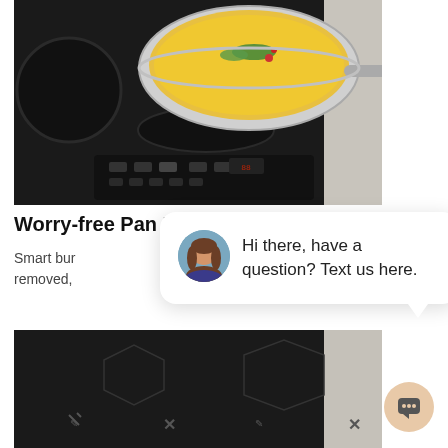[Figure (photo): Photo of a stainless steel pan with yellow scrambled eggs and green herbs on a black induction cooktop with touch controls]
Worry-free Pan Detection
Smart bur removed,
[Figure (screenshot): Chat widget popup showing a woman's avatar and the message: Hi there, have a question? Text us here. With a close button in the top right.]
[Figure (photo): Bottom portion of a black induction cooktop surface showing touch control icons including X symbols and other indicators]
[Figure (other): Peach/tan circular chat icon button in bottom right corner]